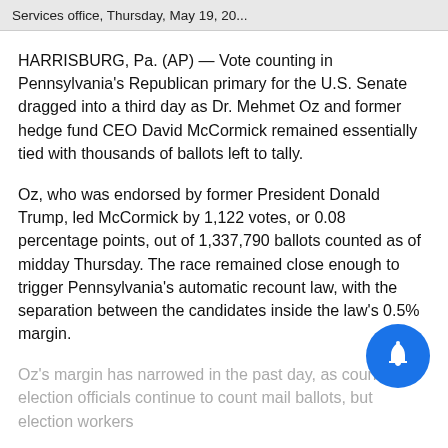Services office, Thursday, May 19, 20...
HARRISBURG, Pa. (AP) — Vote counting in Pennsylvania's Republican primary for the U.S. Senate dragged into a third day as Dr. Mehmet Oz and former hedge fund CEO David McCormick remained essentially tied with thousands of ballots left to tally.
Oz, who was endorsed by former President Donald Trump, led McCormick by 1,122 votes, or 0.08 percentage points, out of 1,337,790 ballots counted as of midday Thursday. The race remained close enough to trigger Pennsylvania's automatic recount law, with the separation between the candidates inside the law's 0.5% margin.
Oz's margin has narrowed in the past day, as county election officials continue to count mail ballots, but election workers